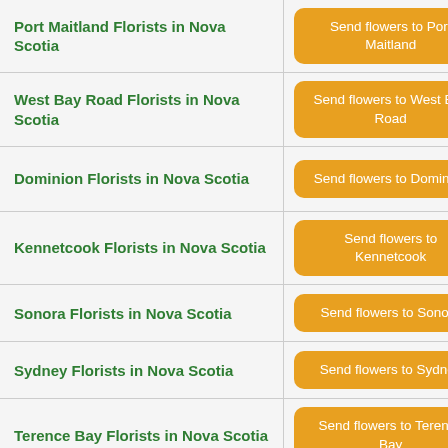Port Maitland Florists in Nova Scotia
Send flowers to Port Maitland
West Bay Road Florists in Nova Scotia
Send flowers to West Bay Road
Dominion Florists in Nova Scotia
Send flowers to Dominion
Kennetcook Florists in Nova Scotia
Send flowers to Kennetcook
Sonora Florists in Nova Scotia
Send flowers to Sonora
Sydney Florists in Nova Scotia
Send flowers to Sydney
Terence Bay Florists in Nova Scotia
Send flowers to Terence Bay